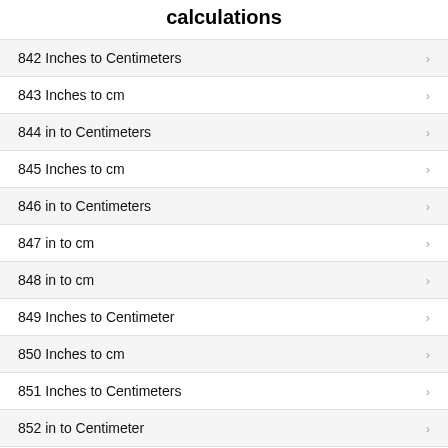calculations
842 Inches to Centimeters
843 Inches to cm
844 in to Centimeters
845 Inches to cm
846 in to Centimeters
847 in to cm
848 in to cm
849 Inches to Centimeter
850 Inches to cm
851 Inches to Centimeters
852 in to Centimeter
853 in to Centimeters